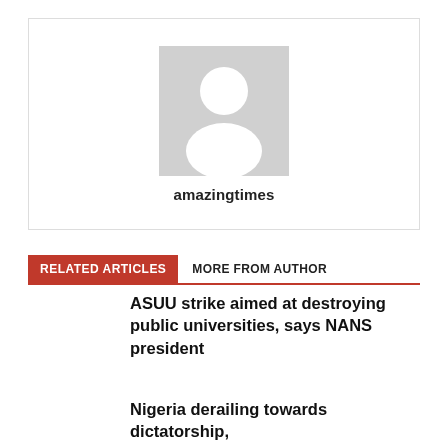[Figure (photo): Author avatar placeholder image — grey background with white silhouette of a person, followed by author name 'amazingtimes']
amazingtimes
RELATED ARTICLES	MORE FROM AUTHOR
ASUU strike aimed at destroying public universities, says NANS president
Nigeria derailing towards dictatorship,